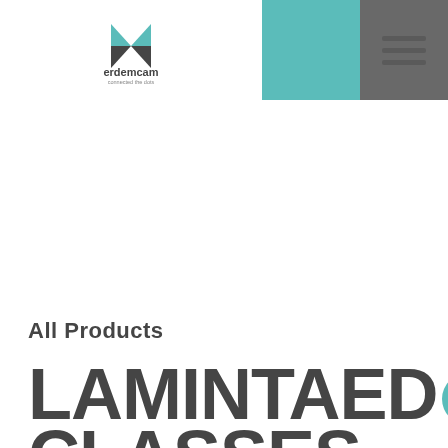erdemcam - connected the dots - navigation header with teal bar and hamburger menu
All Products
LAMINTAED CLASSES